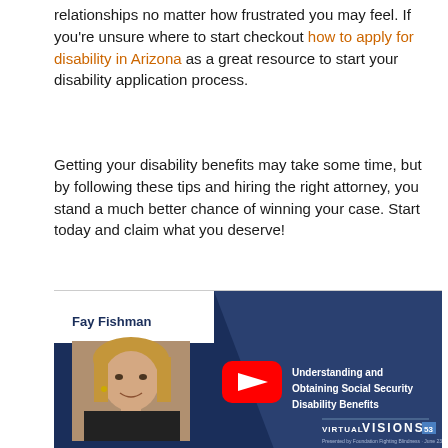relationships no matter how frustrated you may feel. If you're unsure where to start checkout how to apply for disability in Arizona as a great resource to start your disability application process.
Getting your disability benefits may take some time, but by following these tips and hiring the right attorney, you stand a much better chance of winning your case. Start today and claim what you deserve!
[Figure (screenshot): YouTube video thumbnail featuring Fay Fishman with title 'Understanding and Obtaining Social Security Disability Benefits' and Virtual Visions branding on a dark navy background with a YouTube play button.]